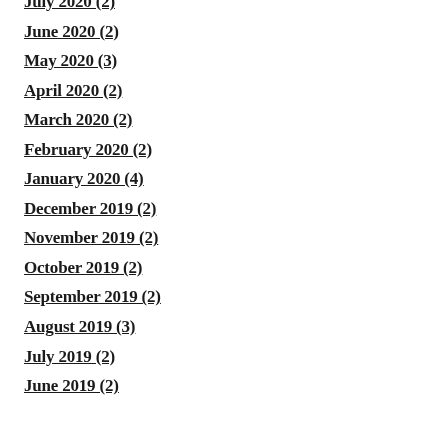July 2020 (2)
June 2020 (2)
May 2020 (3)
April 2020 (2)
March 2020 (2)
February 2020 (2)
January 2020 (4)
December 2019 (2)
November 2019 (2)
October 2019 (2)
September 2019 (2)
August 2019 (3)
July 2019 (2)
June 2019 (2)